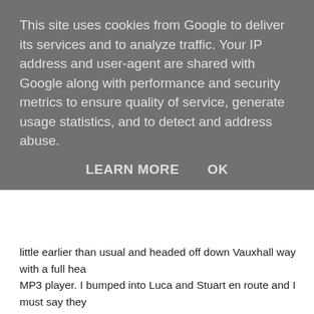This site uses cookies from Google to deliver its services and to analyze traffic. Your IP address and user-agent are shared with Google along with performance and security metrics to ensure quality of service, generate usage statistics, and to detect and address abuse.
LEARN MORE    OK
little earlier than usual and headed off down Vauxhall way with a full hea... MP3 player. I bumped into Luca and Stuart en route and I must say they... couple - congratulations boys.
D.E. did one of those shows that make you think 'she's too good for this p... Wakefield and Chicken TV being particular highlights of his/her stand-up... was beyond compare as per. It put us all in the great mood. Except those pouring rain, of course. The RVT had ran out of green wrist bands so the... ages. The place wasn't even full. Bastards!
It was great to catch up with Pete, of course; that man is so lovely. And m... introduced me to three other equally lovely people. First there was Ryan... a regular reader - so where's that comment Ryan, huh? Oh, did I mentio... And then there was Claudia, a co-worker of Ryan, who is really sweet, a... dance floor and one of the most attractive lesbians I'm met in years. To c... introduced me to the gorgeous Josh - young, good-looking, got the smar...